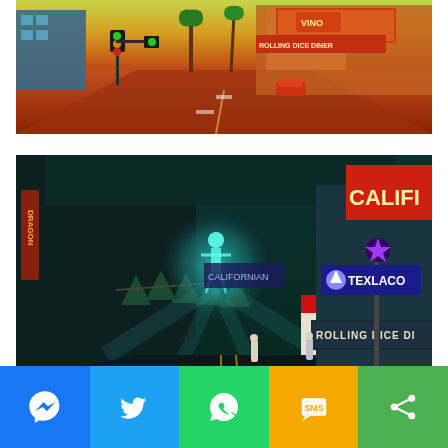[Figure (illustration): Stylized video game screenshot of a city street scene with warm orange/yellow sky tones, palm trees, traffic lights, and storefronts including 'Rolling Dice Diner'. Cartoon-cel shading art style.]
[Figure (illustration): Stylized video game screenshot of a city street at night with teal/dark green atmosphere. A glowing holographic female figure floats above the street. Storefronts include 'Californian', 'Texlaco' with star logo, 'Rolling Dice Di...' and 'Buy Califo...'. California state flag banner visible. People standing on street.]
[Figure (infographic): Social media share bar with five buttons: Messenger (blue), Twitter (light blue), WhatsApp (green), SMS (yellow/gold), Share (green with share icon).]